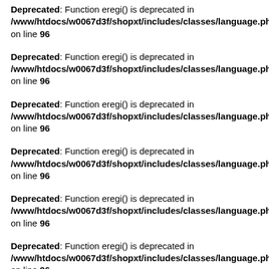Deprecated: Function eregi() is deprecated in /www/htdocs/w0067d3f/shopxt/includes/classes/language.php on line 96
Deprecated: Function eregi() is deprecated in /www/htdocs/w0067d3f/shopxt/includes/classes/language.php on line 96
Deprecated: Function eregi() is deprecated in /www/htdocs/w0067d3f/shopxt/includes/classes/language.php on line 96
Deprecated: Function eregi() is deprecated in /www/htdocs/w0067d3f/shopxt/includes/classes/language.php on line 96
Deprecated: Function eregi() is deprecated in /www/htdocs/w0067d3f/shopxt/includes/classes/language.php on line 96
Deprecated: Function eregi() is deprecated in /www/htdocs/w0067d3f/shopxt/includes/classes/language.php on line 96
Deprecated: Function eregi() is deprecated in